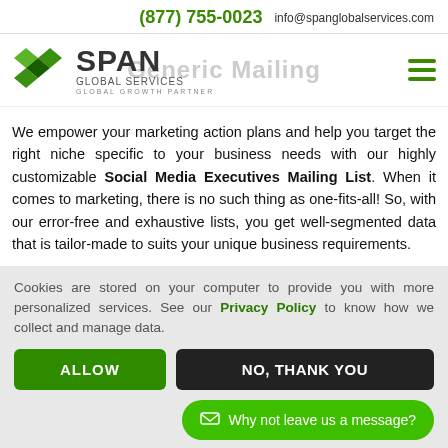(877) 755-0023  info@spanglobalservices.com
[Figure (logo): Span Global Services logo with green diamond shapes and company name]
Social Media Executives Generic Mailing List
We empower your marketing action plans and help you target the right niche specific to your business needs with our highly customizable Social Media Executives Mailing List. When it comes to marketing, there is no such thing as one-fits-all! So, with our error-free and exhaustive lists, you get well-segmented data that is tailor-made to suits your unique business requirements.
Cookies are stored on your computer to provide you with more personalized services. See our Privacy Policy to know how we collect and manage data.
ALLOW
NO, THANK YOU
Why not leave us a message?